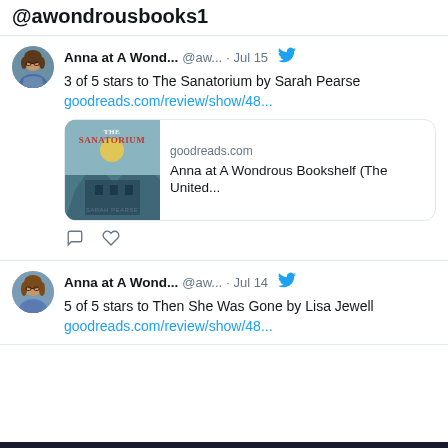@awondrousbooks1
Anna at A Wond... @aw... · Jul 15
3 of 5 stars to The Sanatorium by Sarah Pearse goodreads.com/review/show/48...
[Figure (screenshot): Link preview card for goodreads.com showing book cover of The Sanatorium by Sarah Pearse and text 'Anna at A Wondrous Bookshelf (The United...']
Anna at A Wond... @aw... · Jul 14
5 of 5 stars to Then She Was Gone by Lisa Jewell goodreads.com/review/show/48...